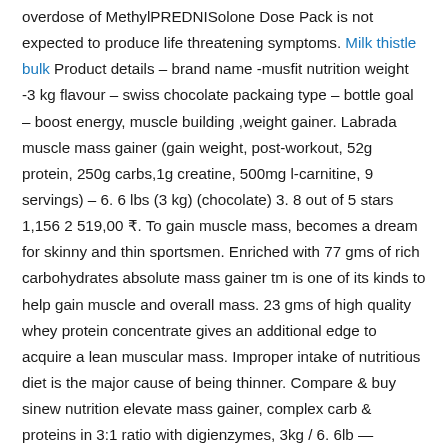overdose of MethylPREDNISolone Dose Pack is not expected to produce life threatening symptoms. Milk thistle bulk Product details – brand name -musfit nutrition weight -3 kg flavour – swiss chocolate packaing type – bottle goal – boost energy, muscle building ,weight gainer. Labrada muscle mass gainer (gain weight, post-workout, 52g protein, 250g carbs,1g creatine, 500mg l-carnitine, 9 servings) – 6. 6 lbs (3 kg) (chocolate) 3. 8 out of 5 stars 1,156 2 519,00 ₹. To gain muscle mass, becomes a dream for skinny and thin sportsmen. Enriched with 77 gms of rich carbohydrates absolute mass gainer tm is one of its kinds to help gain muscle and overall mass. 23 gms of high quality whey protein concentrate gives an additional edge to acquire a lean muscular mass. Improper intake of nutritious diet is the major cause of being thinner. Compare & buy sinew nutrition elevate mass gainer, complex carb & proteins in 3:1 ratio with digienzymes, 3kg / 6. 6lb — chocolate flavor at best price online in india at healthgenie. Get best discount on sinew nutrition elevate mass gainer, complex carb & proteins in 3:1 ratio with digienzymes, 3kg / 6. 6lb — chocolate